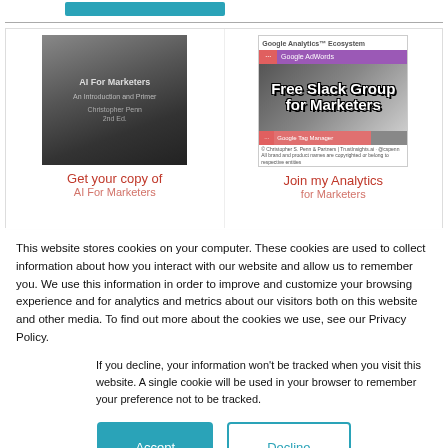[Figure (screenshot): Two promotional cards: left shows 'AI For Marketers' book cover (dark atmospheric image), right shows 'Google Analytics Ecosystem' with 'Free Slack Group for Marketers' overlay text]
Get your copy of
Join my Analytics
This website stores cookies on your computer. These cookies are used to collect information about how you interact with our website and allow us to remember you. We use this information in order to improve and customize your browsing experience and for analytics and metrics about our visitors both on this website and other media. To find out more about the cookies we use, see our Privacy Policy.
If you decline, your information won't be tracked when you visit this website. A single cookie will be used in your browser to remember your preference not to be tracked.
Accept
Decline